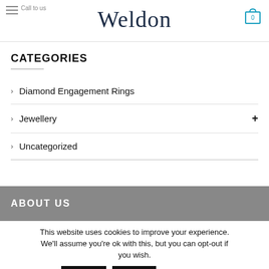Weldon
CATEGORIES
Diamond Engagement Rings
Jewellery
Uncategorized
ABOUT US
This website uses cookies to improve your experience. We'll assume you're ok with this, but you can opt-out if you wish. Accept Reject Read More